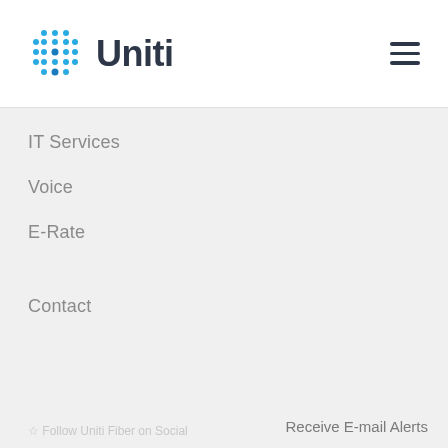[Figure (logo): Uniti logo with blue dot grid pattern on left and dark text 'Uniti' on right, with hamburger menu icon on far right]
IT Services
Voice
E-Rate
Contact
Receive E-mail Alerts